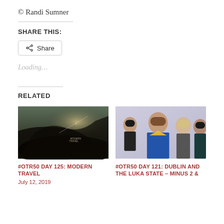© Randi Sumner
SHARE THIS:
Share
Loading...
RELATED
[Figure (photo): Dark landscape/nature scene with faint aircraft and text overlay, album artwork style]
#OTR50 DAY 125: MODERN TRAVEL
July 12, 2019
[Figure (photo): Four young people (band members) posing for a promotional photo against a light background]
#OTR50 DAY 121: DUBLIN AND THE LUKA STATE – MINUS 2 &